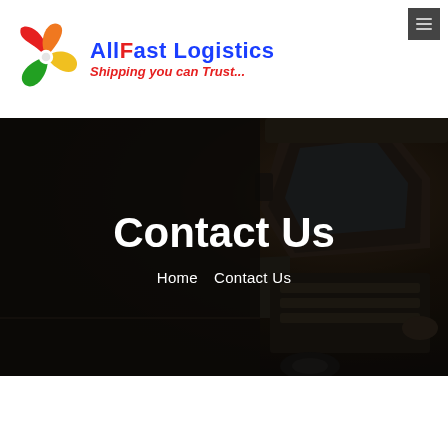[Figure (logo): AllFast Logistics swirl logo with red, green, yellow, orange colors]
AllFast Logistics
Shipping you can Trust...
[Figure (photo): Dark overlay photo of a truck cab from aerial/side angle, used as hero background]
Contact Us
Home   Contact Us